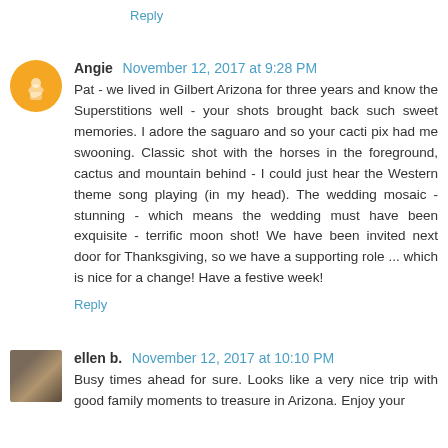Reply
Angie November 12, 2017 at 9:28 PM
Pat - we lived in Gilbert Arizona for three years and know the Superstitions well - your shots brought back such sweet memories. I adore the saguaro and so your cacti pix had me swooning. Classic shot with the horses in the foreground, cactus and mountain behind - I could just hear the Western theme song playing (in my head). The wedding mosaic - stunning - which means the wedding must have been exquisite - terrific moon shot! We have been invited next door for Thanksgiving, so we have a supporting role ... which is nice for a change! Have a festive week!
Reply
ellen b. November 12, 2017 at 10:10 PM
Busy times ahead for sure. Looks like a very nice trip with good family moments to treasure in Arizona. Enjoy your